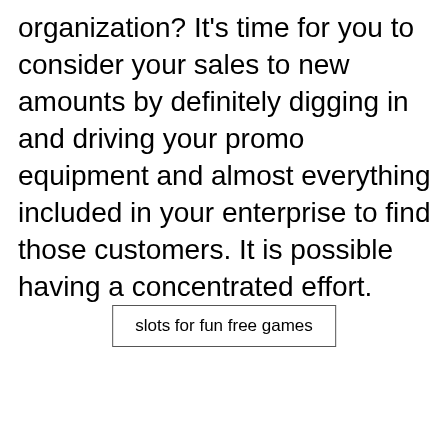organization? It's time for you to consider your sales to new amounts by definitely digging in and driving your promo equipment and almost everything included in your enterprise to find those customers. It is possible having a concentrated effort.
slots for fun free games